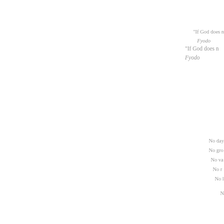“If God does n… / Fyodo…
No day…
No gro…
No va…
No r…
No l…
N…